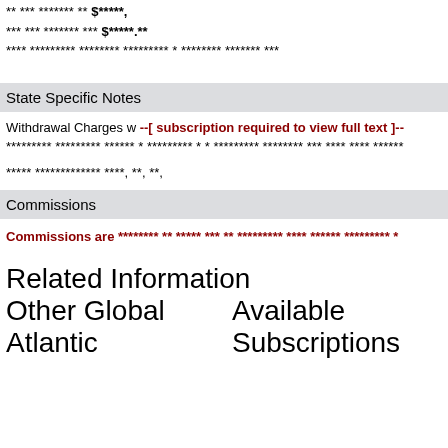** *** ******* ** $*****, ** *** ******* *** $***** ** **** ********* ******** ********* * ******** *******  ***
State Specific Notes
Withdrawal Charges w --[ subscription required to view full text ]-- ********* ********* ****** * ********* * * ********* ******** *** **** **** ************* ****, **, **,
Commissions
Commissions are ******** ** ***** *** ** ********* **** ****** ********* *
Related Information
Other Global Atlantic    Available Subscriptions